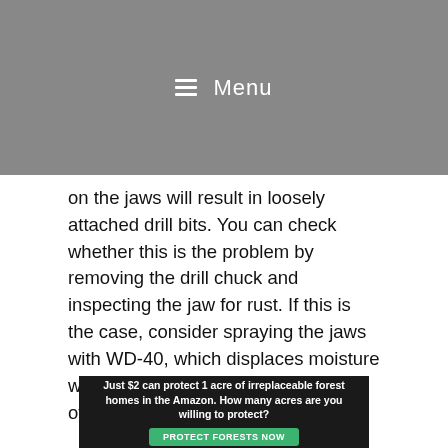Menu
on the jaws will result in loosely attached drill bits. You can check whether this is the problem by removing the drill chuck and inspecting the jaw for rust. If this is the case, consider spraying the jaws with WD-40, which displaces moisture while preventing a future occurrence of the same
Poorly secured drill bits
The procedure for tightening drill bits varies from one model to another. Loosely secured drill bits compromise both the user's safety and
[Figure (infographic): Advertisement banner: Just $2 can protect 1 acre of irreplaceable forest homes in the Amazon. How many acres are you willing to protect? PROTECT FORESTS NOW button.]